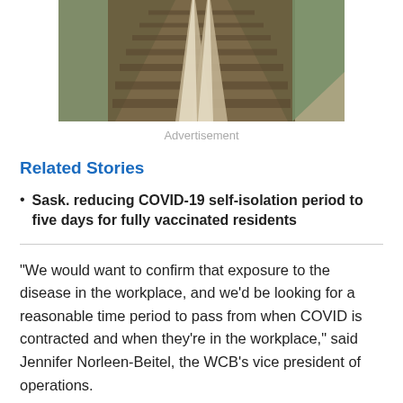[Figure (photo): Aerial/perspective view of railway tracks converging toward a vanishing point, with wooden ties and metal rails visible, greenery at the edge.]
Advertisement
Related Stories
Sask. reducing COVID-19 self-isolation period to five days for fully vaccinated residents
"We would want to confirm that exposure to the disease in the workplace, and we'd be looking for a reasonable time period to pass from when COVID is contracted and when they're in the workplace," said Jennifer Norleen-Beitel, the WCB's vice president of operations.
Generally if the WCB considers transmission of a